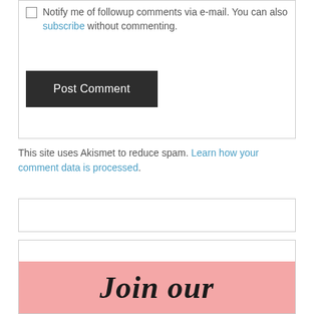Notify me of followup comments via e-mail. You can also subscribe without commenting.
[Figure (screenshot): Post Comment button — dark gray rectangular button with white text]
This site uses Akismet to reduce spam. Learn how your comment data is processed.
[Figure (screenshot): Empty white box with border]
[Figure (illustration): Pink banner section with large italic bold serif text reading 'Join our']